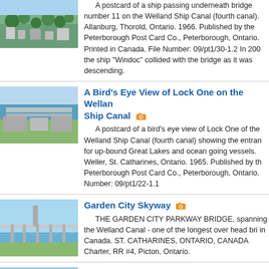[Figure (photo): Aerial photo of a town with trees and buildings]
A postcard of a ship passing underneath bridge number 11 on the Welland Ship Canal (fourth canal). Allanburg, Thorold, Ontario. 1966. Published by the Peterborough Post Card Co., Peterborough, Ontario. Printed in Canada. File Number: 09/pt1/30-1.2 In 200 the ship "Windoc" collided with the bridge as it was descending.
[Figure (photo): Aerial view of Lock One on the Welland Ship Canal]
A Bird's Eye View of Lock One on the Wellan Ship Canal
A postcard of a bird's eye view of Lock One of the Welland Ship Canal (fourth canal) showing the entran for up-bound Great Lakes and ocean going vessels. Weller, St. Catharines, Ontario. 1965. Published by th Peterborough Post Card Co., Peterborough, Ontario. Number: 09/pt1/22-1.1
[Figure (photo): Photo of Garden City Skyway bridge over the Welland Canal]
Garden City Skyway
THE GARDEN CITY PARKWAY BRIDGE, spanning the Welland Canal - one of the longest over head bri in Canada. ST. CATHARINES, ONTARIO, CANADA Charter, RR #4, Picton, Ontario.
[Figure (photo): Photo of Twin Flight Locks on the Welland Ship Canal]
The Twin Flight Locks on the Welland Ship Canal